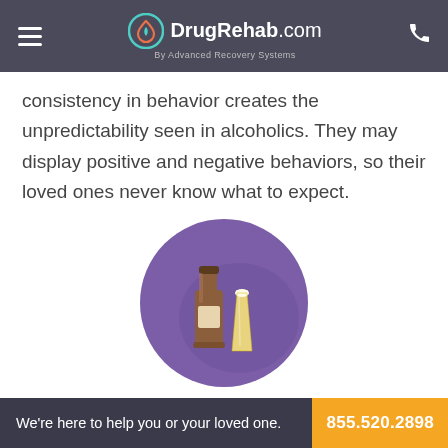DrugRehab.com By Advanced Recovery Systems
consistency in behavior creates the unpredictability seen in alcoholics. They may display positive and negative behaviors, so their loved ones never know what to expect.
[Figure (illustration): Circular purple icon with a beer bottle and a glass of beer illustration]
The Alcoholic's Perspective: “It’s Not Really a Choice”
Alcoholics process emotions differently from people
We’re here to help you or your loved one.  855.520.2898